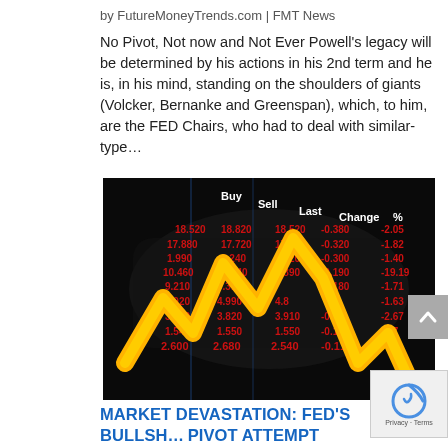by FutureMoneyTrends.com | FMT News
No Pivot, Not now and Not Ever Powell's legacy will be determined by his actions in his 2nd term and he is, in his mind, standing on the shoulders of giants (Volcker, Bernanke and Greenspan), which, to him, are the FED Chairs, who had to deal with similar-type...
[Figure (photo): Stock market ticker board showing buy/sell/last/change/% columns with red declining numbers and a large yellow/orange zigzag arrow pointing downward dramatically, on a dark background with world map silhouette]
MARKET DEVASTATION: FED'S BULLSH... PIVOT ATTEMPT FAILS!